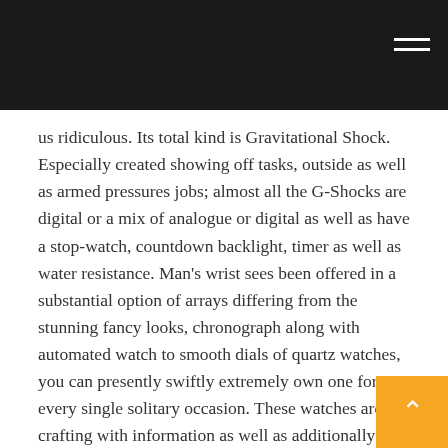us ridiculous. Its total kind is Gravitational Shock. Especially created showing off tasks, outside as well as armed pressures jobs; almost all the G-Shocks are digital or a mix of analogue or digital as well as have a stop-watch, countdown backlight, timer as well as water resistance. Man’s wrist sees been offered in a substantial option of arrays differing from the stunning fancy looks, chronograph along with automated watch to smooth dials of quartz watches, you can presently swiftly extremely own one for every single solitary occasion. These watches are crafting with information as well as additionally quality, where the watch manufacturers made use of technical handiwork to cover the finest info. These watches boost your overall appearance with their appealing formats while preserving cost high up the list of obtaining demands. Your Smart Cellphone as well as additionally computer system with video as well as additionally info streaming developments can